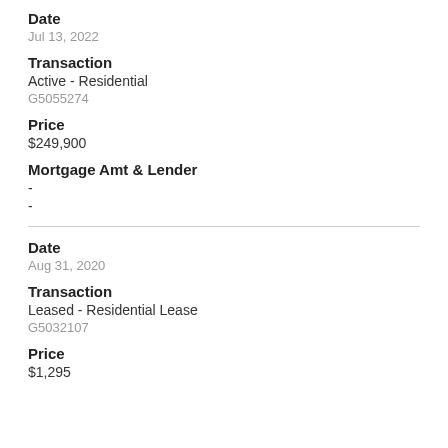Date
Jul 13, 2022
Transaction
Active - Residential
G5055274
Price
$249,900
Mortgage Amt & Lender
-
-
Date
Aug 31, 2020
Transaction
Leased - Residential Lease
G5032107
Price
$1,295